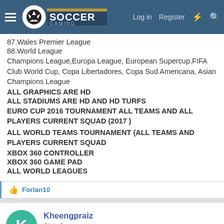Soccer Gaming — Log in | Register
87.Wales Premier League
88.World League
Champions League,Europa League, European Supercup,FIFA Club World Cup, Copa Libertadores, Copa Sud Americana, Asian Champions League
ALL GRAPHICS ARE HD
ALL STADIUMS ARE HD AND HD TURFS
EURO CUP 2016 TOURNAMENT ALL TEAMS AND ALL PLAYERS CURRENT SQUAD (2017 )
ALL WORLD TEAMS TOURNAMENT (ALL TEAMS AND PLAYERS CURRENT SQUAD
XBOX 360 CONTROLLER
XBOX 360 GAME PAD
ALL WORLD LEAGUES
👍 Forlan10
Kheengpraiz — Club Supporter